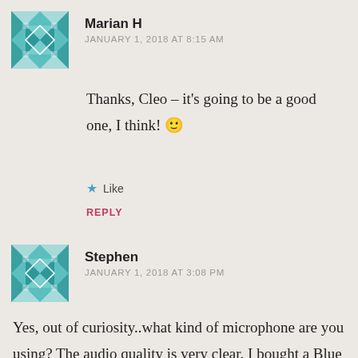[Figure (illustration): Teal/green geometric quilt-pattern avatar icon for user Marian H]
Marian H
JANUARY 1, 2018 AT 8:15 AM
Thanks, Cleo – it's going to be a good one, I think! 🙂
★ Like
REPLY
[Figure (illustration): Teal/green geometric quilt-pattern avatar icon for user Stephen]
Stephen
JANUARY 1, 2018 AT 3:08 PM
Yes, out of curiosity..what kind of microphone are you using? The audio quality is very clear. I bought a Blue Yeti a few weeks back and am still playing with it and